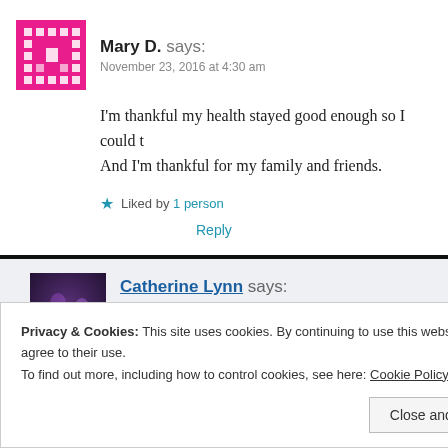Mary D. says: November 23, 2016 at 4:30 am
I'm thankful my health stayed good enough so I could t… And I'm thankful for my family and friends.
Liked by 1 person
Reply
Catherine Lynn says: November 23, 2016 at 2:26 pm
Privacy & Cookies: This site uses cookies. By continuing to use this website, you agree to their use. To find out more, including how to control cookies, see here: Cookie Policy
Close and accept